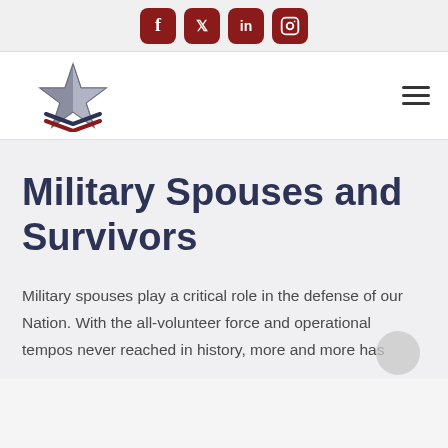Social media icons: Facebook, Twitter, LinkedIn, Instagram
[Figure (logo): Military star logo with chevrons below, and hamburger menu icon on the right]
Military Spouses and Survivors
Military spouses play a critical role in the defense of our Nation. With the all-volunteer force and operational tempos never reached in history, more and more has